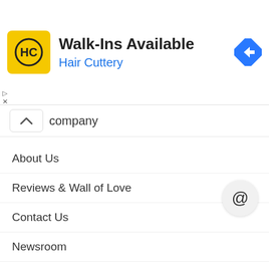[Figure (screenshot): Hair Cuttery advertisement banner with yellow logo showing 'HC', title 'Walk-Ins Available', subtitle 'Hair Cuttery', and a blue navigation arrow icon on the right]
company
About Us
Reviews & Wall of Love
Contact Us
Newsroom
Business Enquiries
Anti Forgery
Terms of Service
Privacy Policy